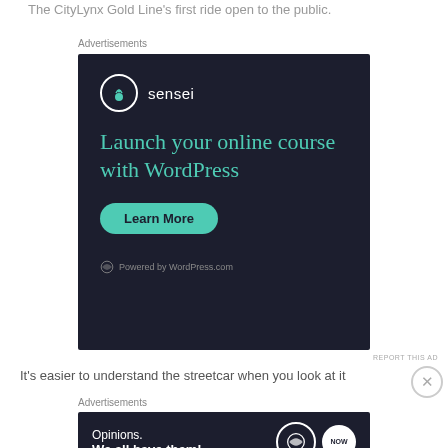The CityLynx Gold Line's first ride open to the public.
Advertisements
[Figure (screenshot): Advertisement for Sensei WordPress plugin — dark navy background with teal logo circle, brand name 'sensei', headline 'Launch your online course with WordPress', a teal 'Learn More' button, and 'Powered by WordPress.com' footer text.]
REPORT THIS AD
It's easier to understand the streetcar when you look at it
Advertisements
[Figure (screenshot): Bottom banner advertisement on dark navy background with text 'Opinions. We all have them!' and WordPress logo and NOW circle logo on right side.]